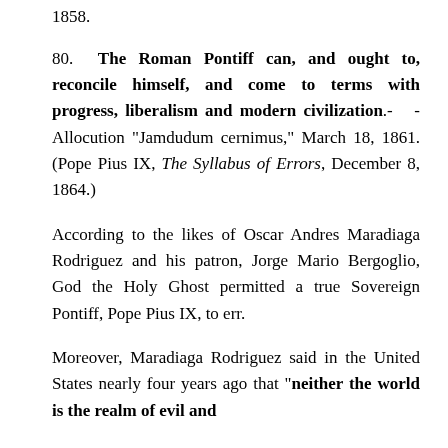1858.
80. The Roman Pontiff can, and ought to, reconcile himself, and come to terms with progress, liberalism and modern civilization.- -Allocution "Jamdudum cernimus," March 18, 1861. (Pope Pius IX, The Syllabus of Errors, December 8, 1864.)
According to the likes of Oscar Andres Maradiaga Rodriguez and his patron, Jorge Mario Bergoglio, God the Holy Ghost permitted a true Sovereign Pontiff, Pope Pius IX, to err.
Moreover, Maradiaga Rodriguez said in the United States nearly four years ago that "neither the world is the realm of evil and